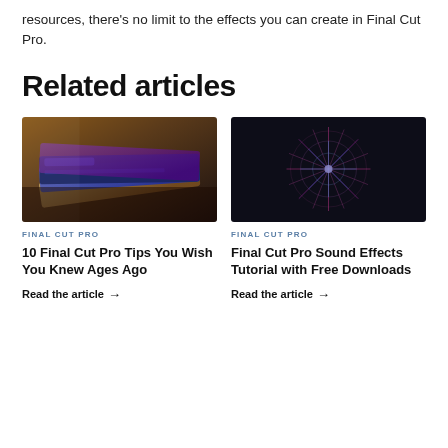resources, there's no limit to the effects you can create in Final Cut Pro.
Related articles
[Figure (photo): Stack of tablets/devices with colorful covers, dark background]
FINAL CUT PRO
10 Final Cut Pro Tips You Wish You Knew Ages Ago
Read the article →
[Figure (photo): Dark background with glowing pink and blue mandala/flower pattern made of light lines]
FINAL CUT PRO
Final Cut Pro Sound Effects Tutorial with Free Downloads
Read the article →